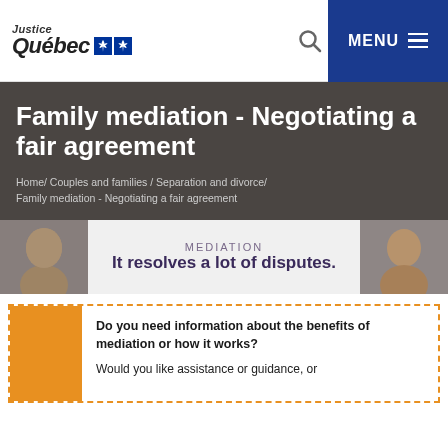Justice Québec [logo] — MENU
Family mediation - Negotiating a fair agreement
Home / Couples and families / Separation and divorce / Family mediation - Negotiating a fair agreement
[Figure (illustration): Mediation banner with two faces on either side and text: MEDIATION — It resolves a lot of disputes.]
Do you need information about the benefits of mediation or how it works?

Would you like assistance or guidance, or